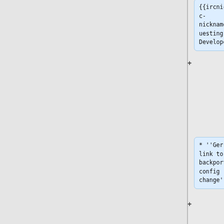{{ircnick|irc-nickname|Requesting Developer}}
* ''Gerrit link to backport or config change''
}}
{{Deployment calendar event card
|when=2022-05-18 11:00 SF